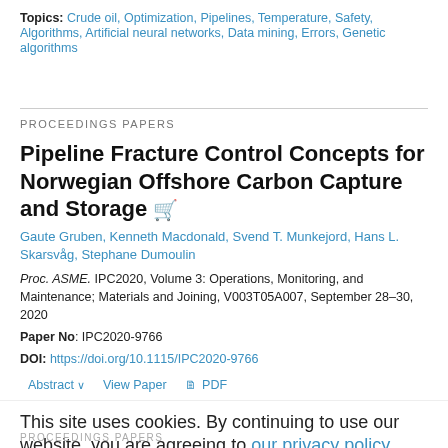Topics: Crude oil, Optimization, Pipelines, Temperature, Safety, Algorithms, Artificial neural networks, Data mining, Errors, Genetic algorithms
PROCEEDINGS PAPERS
Pipeline Fracture Control Concepts for Norwegian Offshore Carbon Capture and Storage
Gaute Gruben, Kenneth Macdonald, Svend T. Munkejord, Hans L. Skarsvåg, Stephane Dumoulin
Proc. ASME. IPC2020, Volume 3: Operations, Monitoring, and Maintenance; Materials and Joining, V003T05A007, September 28–30, 2020
Paper No: IPC2020-9766
DOI: https://doi.org/10.1115/IPC2020-9766
Abstract  View Paper  PDF
This site uses cookies. By continuing to use our website, you are agreeing to our privacy policy. Accept
PROCEEDINGS PAPERS